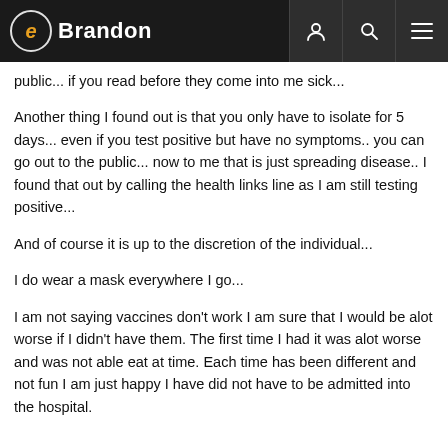eBrandon
public... if you read before they come into me sick...
Another thing I found out is that you only have to isolate for 5 days... even if you test positive but have no symptoms.. you can go out to the public... now to me that is just spreading disease.. I found that out by calling the health links line as I am still testing positive...
And of course it is up to the discretion of the individual...
I do wear a mask everywhere I go...
I am not saying vaccines don't work I am sure that I would be alot worse if I didn't have them. The first time I had it was alot worse and was not able eat at time. Each time has been different and not fun I am just happy I have did not have to be admitted into the hospital.